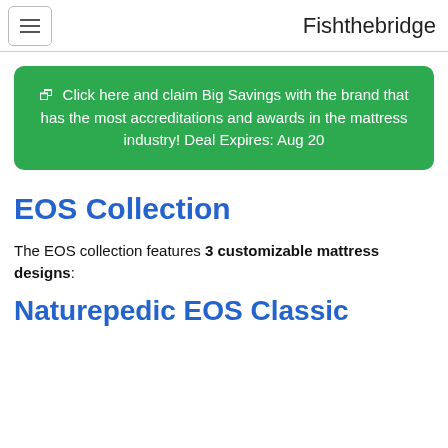Fishthebridge
Click here and claim Big Savings with the brand that has the most accreditations and awards in the mattress industry! Deal Expires: Aug 20
EOS Collection
The EOS collection features 3 customizable mattress designs:
Naturepedic EOS Classic